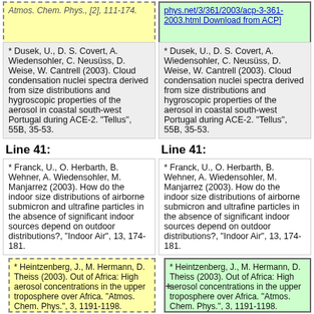Atmos. Chem. Phys., [2], 111-174.
[http://www.atmos-chem-phys.net/3/361/2003/acp-3-361-2003.html Download from ACP]
* Dusek, U., D. S. Covert, A. Wiedensohler, C. Neusüss, D. Weise, W. Cantrell (2003). Cloud condensation nuclei spectra derived from size distributions and hygroscopic properties of the aerosol in coastal south-west Portugal during ACE-2. "Tellus", 55B, 35-53.
* Dusek, U., D. S. Covert, A. Wiedensohler, C. Neusüss, D. Weise, W. Cantrell (2003). Cloud condensation nuclei spectra derived from size distributions and hygroscopic properties of the aerosol in coastal south-west Portugal during ACE-2. "Tellus", 55B, 35-53.
Line 41:
Line 41:
* Franck, U., O. Herbarth, B. Wehner, A. Wiedensohler, M. Manjarrez (2003). How do the indoor size distributions of airborne submicron and ultrafine particles in the absence of significant indoor sources depend on outdoor distributions?, "Indoor Air", 13, 174-181.
* Franck, U., O. Herbarth, B. Wehner, A. Wiedensohler, M. Manjarrez (2003). How do the indoor size distributions of airborne submicron and ultrafine particles in the absence of significant indoor sources depend on outdoor distributions?, "Indoor Air", 13, 174-181.
* Heintzenberg, J., M. Hermann, D. Theiss (2003). Out of Africa: High aerosol concentrations in the upper troposphere over Africa. "Atmos. Chem. Phys.", 3, 1191-1198.
* Heintzenberg, J., M. Hermann, D. Theiss (2003). Out of Africa: High aerosol concentrations in the upper troposphere over Africa. "Atmos. Chem. Phys.", 3, 1191-1198. [http://www.atmos-chem-...